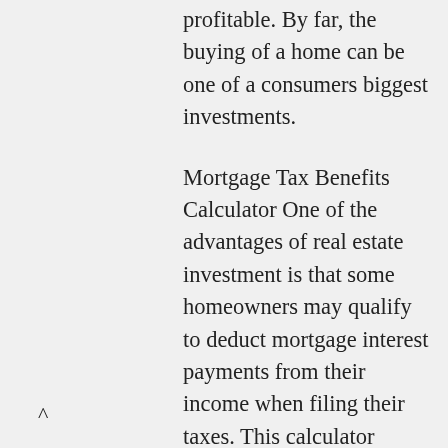profitable. By far, the buying of a home can be one of a consumers biggest investments.
Mortgage Tax Benefits Calculator One of the advantages of real estate investment is that some homeowners may qualify to deduct mortgage interest payments from their income when filing their taxes. This calculator estimates your tax savings after a house purchase.
Current mortgage rates are shown beneath the calculator. 2018 Changes to Mortgage Interest Income Tax Deduction. Congress passed the Tax Cuts and Jobs Act of 2017, which changed the tax code in a number of ways that limits the breadth of income-tax deductions, including those on mortgages.
^